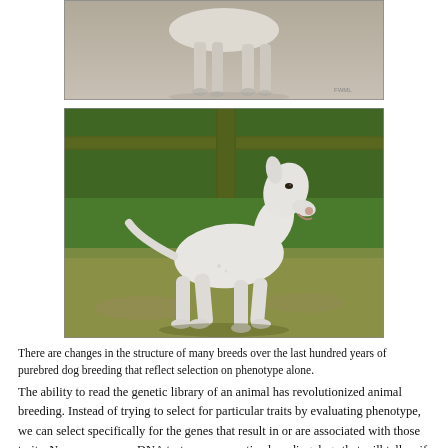[Figure (photo): Black and white historical photo of a dog (early Bull Terrier breed) showing legs and body, cropped at top]
[Figure (photo): Color photograph of a modern white Bull Terrier standing on grass, looking upward, showing full body profile]
There are changes in the structure of many breeds over the last hundred years of purebred dog breeding that reflect selection on phenotype alone.
The ability to read the genetic library of an animal has revolutionized animal breeding. Instead of trying to select for particular traits by evaluating phenotype, we can select specifically for the genes that result in or are associated with those traits. Now, we can run DNA tests on prospective breeding dogs that will tell us if an animal carries a